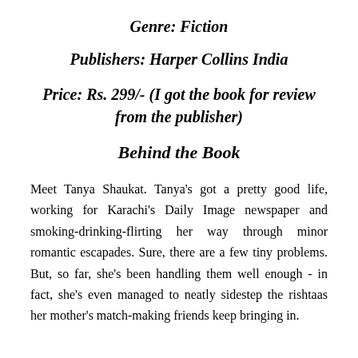Genre: Fiction
Publishers: Harper Collins India
Price: Rs. 299/- (I got the book for review from the publisher)
Behind the Book
Meet Tanya Shaukat. Tanya's got a pretty good life, working for Karachi's Daily Image newspaper and smoking-drinking-flirting her way through minor romantic escapades. Sure, there are a few tiny problems. But, so far, she's been handling them well enough - in fact, she's even managed to neatly sidestep the rishtaas her mother's match-making friends keep bringing in.